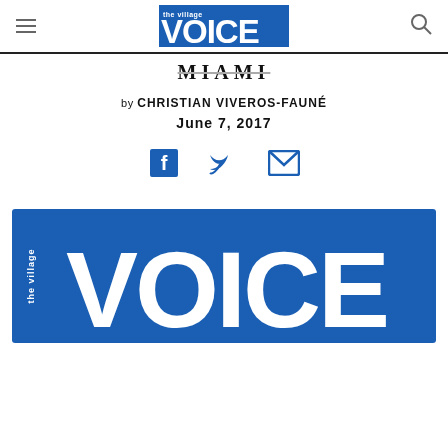the village VOICE
MIAMI
by CHRISTIAN VIVEROS-FAUNÉ
June 7, 2017
[Figure (logo): Social share icons: Facebook, Twitter, Email]
[Figure (logo): The Village Voice large logo — blue rectangle with white text reading 'the village VOICE']